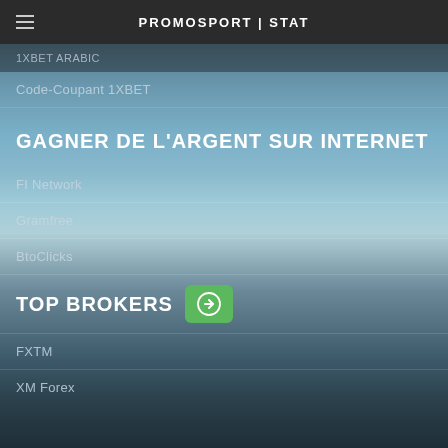PROMOSPORT | STAT
1XBET ARABIC
Code-Coupant 1XBET
GAGNER DE L'ARGENT SUR INTERNET
FI Network
Gramfree
BtoClicks
TOP BROKERS
FXTM
XM Forex